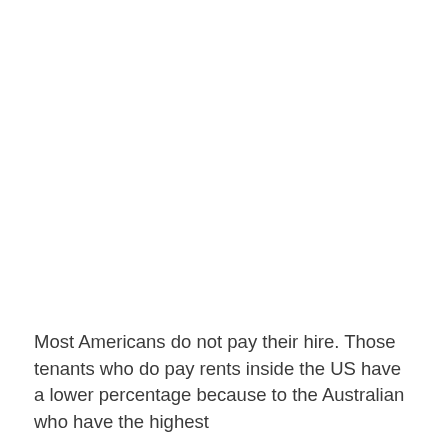Most Americans do not pay their hire. Those tenants who do pay rents inside the US have a lower percentage because to the Australian who have the highest